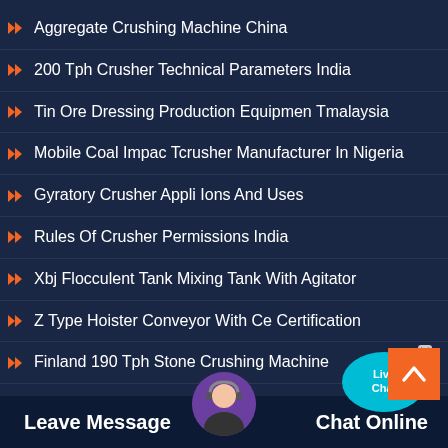Aggregate Crushing Machine China
200 Tph Crusher Technical Parameters India
Tin Ore Dressing Production Equipmen Tmalaysia
Mobile Coal Impac Tcrusher Manufacturer In Nigeria
Gyratory Crusher Appli Ions And Uses
Rules Of Crusher Permissions India
Xbj Flocculent Tank Mixing Tank With Agitator
Z Type Hoister Conveyor With Ce Certification
Finland 190 Tph Stone Crushing Machine
Eq...achine
[Figure (infographic): Live Chat bubble widget with blue speech bubble and 'Live Chat' text, with X close button]
[Figure (infographic): Orange scroll-to-top button with upward chevron arrow]
Leave Message   Chat Online